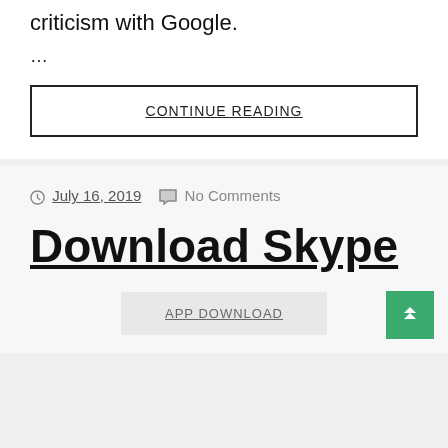criticism with Google.
…
CONTINUE READING
July 16, 2019   No Comments
Download Skype
APP DOWNLOAD